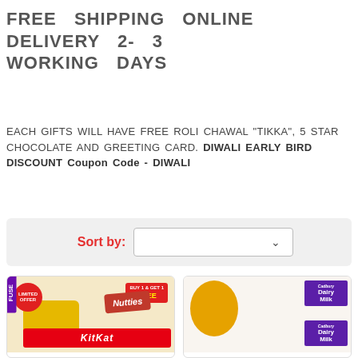FREE SHIPPING ONLINE DELIVERY 2- 3 WORKING DAYS
EACH GIFTS WILL HAVE FREE ROLI CHAWAL "TIKKA", 5 STAR CHOCOLATE AND GREETING CARD. DIWALI EARLY BIRD DISCOUNT Coupon Code - DIWALI
Sort by:
[Figure (photo): Product image left: Diwali gift hamper with KitKat, Fuse, Nutties chocolate bars on a yellow tray. Badge: LIMITED OFFER, BUY 1 & GET 1 FREE]
[Figure (photo): Product image right: Diwali thali with decorative plate and multiple Cadbury Dairy Milk chocolate bars]